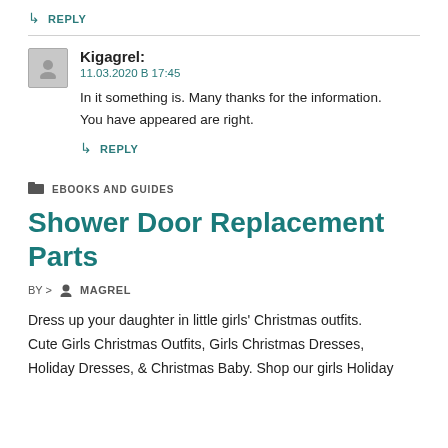REPLY
Kigagrel:
11.03.2020 В 17:45
In it something is. Many thanks for the information. You have appeared are right.
REPLY
EBOOKS AND GUIDES
Shower Door Replacement Parts
BY > MAGREL
Dress up your daughter in little girls' Christmas outfits. Cute Girls Christmas Outfits, Girls Christmas Dresses, Holiday Dresses, & Christmas Baby. Shop our girls Holiday